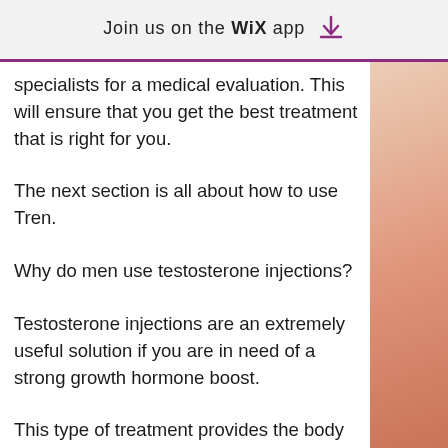Join us on the WiX app ⬇
specialists for a medical evaluation. This will ensure that you get the best treatment that is right for you.
The next section is all about how to use Tren.
Why do men use testosterone injections?
Testosterone injections are an extremely useful solution if you are in need of a strong growth hormone boost.
This type of treatment provides the body with the hormone to increase strength and muscle mass – this can be an important aspect for anyone who wants to add muscle to his arms or legs.
Tren is injected under the skin into the